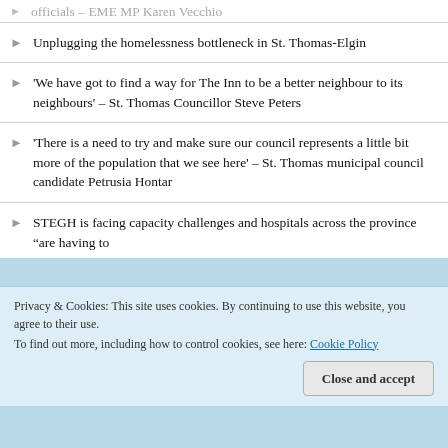Unplugging the homelessness bottleneck in St. Thomas-Elgin
'We have got to find a way for The Inn to be a better neighbour to its neighbours' – St. Thomas Councillor Steve Peters
'There is a need to try and make sure our council represents a little bit more of the population that we see here' – St. Thomas municipal council candidate Petrusia Hontar
STEGH is facing capacity challenges and hospitals across the province "are having to
Privacy & Cookies: This site uses cookies. By continuing to use this website, you agree to their use.
To find out more, including how to control cookies, see here: Cookie Policy
Close and accept